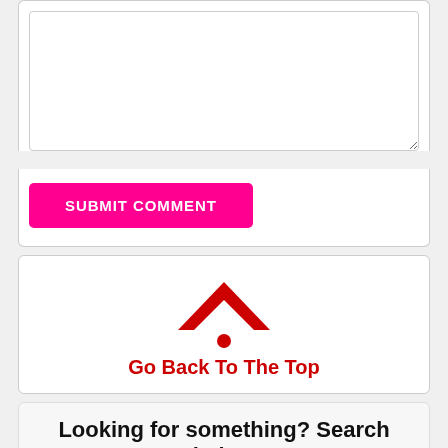[Figure (screenshot): Textarea input box (empty, resizable)]
SUBMIT COMMENT
[Figure (logo): Red house/chevron icon with dot — Go Back To The Top link]
Go Back To The Top
Looking for something? Search below
Search UniversalBlog GO